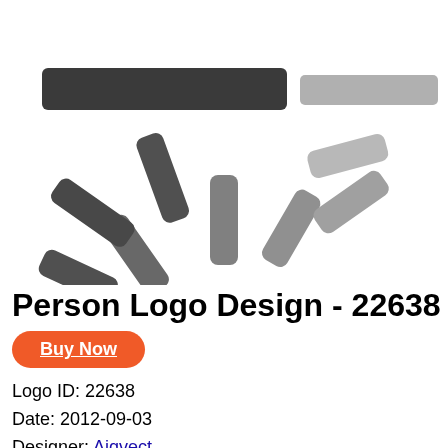[Figure (logo): A loading spinner / radial lines logo graphic with blurred dark gray lines radiating from a center point, with two dark horizontal bars in the upper left and two lighter gray bars in the upper right area.]
Person Logo Design - 22638
Buy Now
Logo ID: 22638
Date: 2012-09-03
Designer: Aiqvect
Tags: